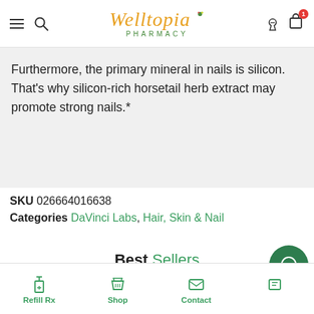Welltopia Pharmacy — navigation bar with menu, search, user, and cart icons
Furthermore, the primary mineral in nails is silicon. That's why silicon-rich horsetail herb extract may promote strong nails.*
SKU 026664016638
Categories DaVinci Labs, Hair, Skin & Nail
Best Sellers
Sale!
Refill Rx  Shop  Contact